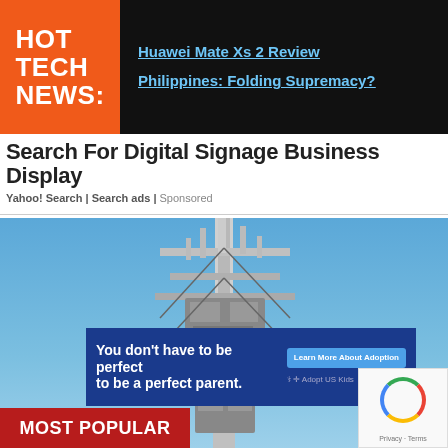HOT TECH NEWS:
Huawei Mate Xs 2 Review Philippines: Folding Supremacy?
Search For Digital Signage Business Display
Yahoo! Search | Search ads | Sponsored
[Figure (photo): Cell tower / telecommunications mast against a clear blue sky, with an adoption advertisement overlay reading 'You don't have to be perfect to be a perfect parent.' and a Learn More About Adoption button. A reCAPTCHA badge appears in the lower right corner.]
MOST POPULAR